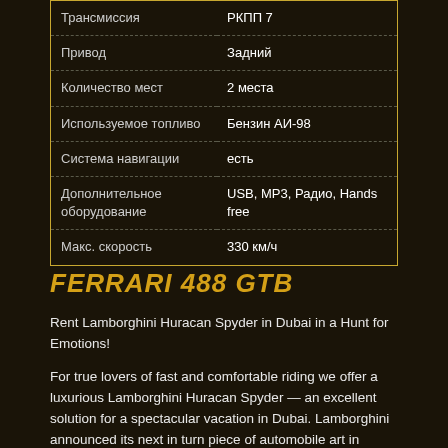|  |  |
| --- | --- |
| Трансмиссия | РКПП 7 |
| Привод | Задний |
| Количество мест | 2 места |
| Используемое топливо | Бензин АИ-98 |
| Система навигации | есть |
| Дополнительное оборудование | USB, MP3, Радио, Hands free |
| Макс. скорость | 330 км/ч |
FERRARI 488 GTB
Rent Lamborghini Huracan Spyder in Dubai in a Hunt for Emotions!
For true lovers of fast and comfortable riding we offer a luxurious Lamborghini Huracan Spyder — an excellent solution for a spectacular vacation in Dubai. Lamborghini announced its next in turn piece of automobile art in Frankfurt in September 2015.